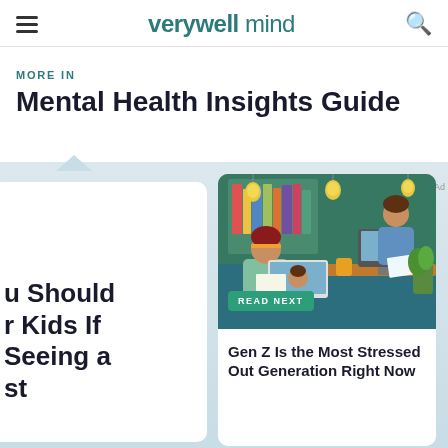verywell mind
MORE IN
Mental Health Insights Guide
[Figure (illustration): Illustration of a person with a beanie hat using a laptop for a video call, with another person visible on screen and across a desk, books and plant in background]
READ NEXT
Gen Z Is the Most Stressed Out Generation Right Now
u Should r Kids If Seeing a st